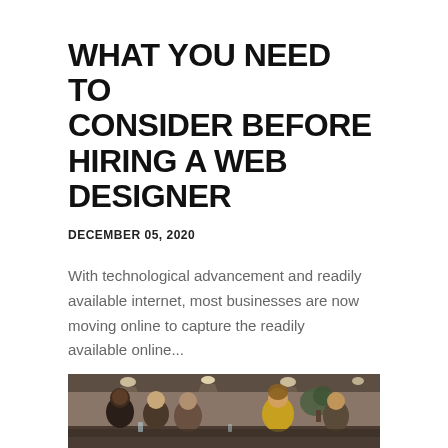WHAT YOU NEED TO CONSIDER BEFORE HIRING A WEB DESIGNER
DECEMBER 05, 2020
With technological advancement and readily available internet, most businesses are now moving online to capture the readily available online...
[Figure (photo): Photo of a group of people smiling and socializing in a restaurant or cafe setting, with ceiling lights and plants visible in the background. A woman in a yellow top is prominent on the right.]